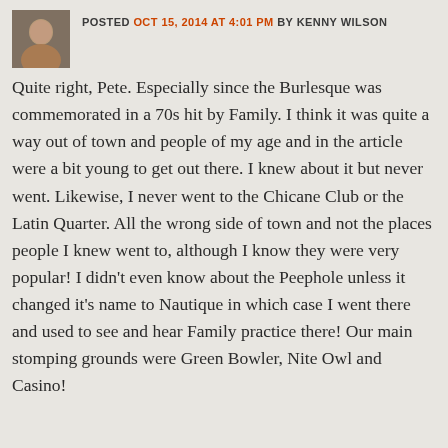POSTED OCT 15, 2014 AT 4:01 PM BY KENNY WILSON
Quite right, Pete. Especially since the Burlesque was commemorated in a 70s hit by Family. I think it was quite a way out of town and people of my age and in the article were a bit young to get out there. I knew about it but never went. Likewise, I never went to the Chicane Club or the Latin Quarter. All the wrong side of town and not the places people I knew went to, although I know they were very popular! I didn't even know about the Peephole unless it changed it's name to Nautique in which case I went there and used to see and hear Family practice there! Our main stomping grounds were Green Bowler, Nite Owl and Casino!